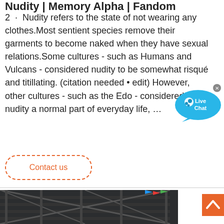Nudity | Memory Alpha | Fandom
2 · Nudity refers to the state of not wearing any clothes.Most sentient species remove their garments to become naked when they have sexual relations.Some cultures - such as Humans and Vulcans - considered nudity to be somewhat risqué and titillating. (citation needed • edit) However, other cultures - such as the Edo - considered nudity a normal part of everyday life, …
[Figure (other): Live Chat speech bubble overlay with cyan/blue color and 'Live Chat' text, with close X button]
Contact us
[Figure (photo): Photo of a metal scaffold structure or industrial framework against an overcast sky, with colorful flags/banners visible in upper right]